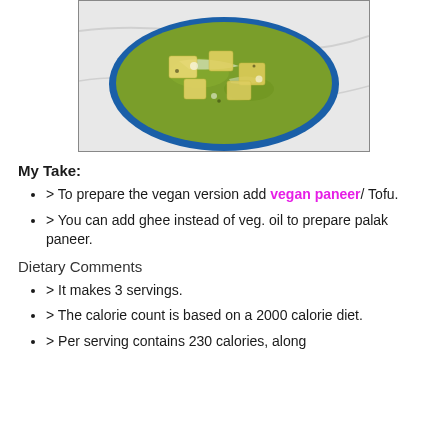[Figure (photo): A bowl of palak paneer (green spinach curry with paneer cubes) served in a blue bowl on a marble surface, viewed from above.]
My Take:
> To prepare the vegan version add vegan paneer/ Tofu.
> You can add ghee instead of veg. oil to prepare palak paneer.
Dietary Comments
> It makes 3 servings.
> The calorie count is based on a 2000 calorie diet.
> Per serving contains 230 calories, along